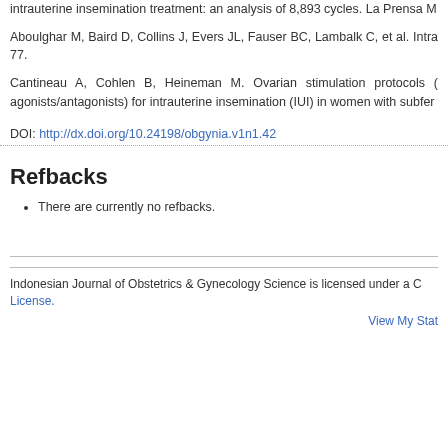intrauterine insemination treatment: an analysis of 8,893 cycles. La Prensa M
Aboulghar M, Baird D, Collins J, Evers JL, Fauser BC, Lambalk C, et al. Intra 77.
Cantineau A, Cohlen B, Heineman M. Ovarian stimulation protocols ( agonists/antagonists) for intrauterine insemination (IUI) in women with subfer
DOI: http://dx.doi.org/10.24198/obgynia.v1n1.42
Refbacks
There are currently no refbacks.
Indonesian Journal of Obstetrics & Gynecology Science is licensed under a Creative Commons Attribution License.
View My Stat